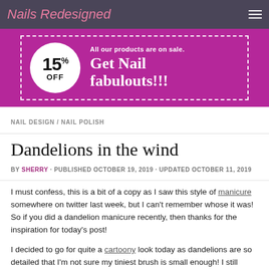Nails Redesigned
[Figure (infographic): Promotional banner: 15% OFF circle badge on magenta background with dashed border. Text reads: All our products are on sale. Get Nail fabulouts!!!]
NAIL DESIGN / NAIL POLISH
Dandelions in the wind
BY SHERRY · PUBLISHED OCTOBER 19, 2019 · UPDATED OCTOBER 11, 2019
I must confess, this is a bit of a copy as I saw this style of manicure somewhere on twitter last week, but I can't remember whose it was! So if you did a dandelion manicure recently, then thanks for the inspiration for today's post!
I decided to go for quite a cartoony look today as dandelions are so detailed that I'm not sure my tiniest brush is small enough! I still